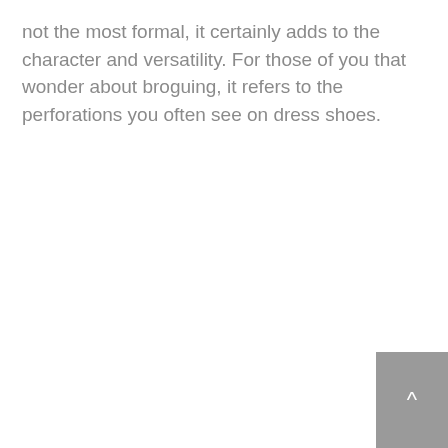not the most formal, it certainly adds to the character and versatility. For those of you that wonder about broguing, it refers to the perforations you often see on dress shoes.